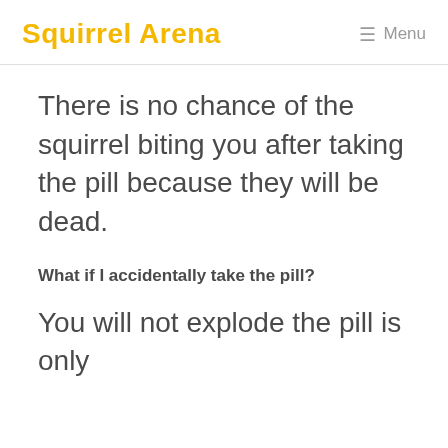Squirrel Arena   ☰ Menu
There is no chance of the squirrel biting you after taking the pill because they will be dead.
What if I accidentally take the pill?
You will not explode the pill is only